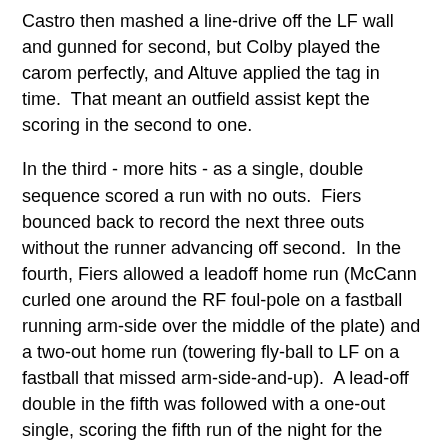Castro then mashed a line-drive off the LF wall and gunned for second, but Colby played the carom perfectly, and Altuve applied the tag in time.  That meant an outfield assist kept the scoring in the second to one.
In the third - more hits - as a single, double sequence scored a run with no outs.  Fiers bounced back to record the next three outs without the runner advancing off second.  In the fourth, Fiers allowed a leadoff home run (McCann curled one around the RF foul-pole on a fastball running arm-side over the middle of the plate) and a two-out home run (towering fly-ball to LF on a fastball that missed arm-side-and-up).  A lead-off double in the fifth was followed with a one-out single, scoring the fifth run of the night for the Yankees, negating the early-game offensive outburst for the Astros.
Will Harris kicked off the sixth inning in spite of Fiers' pitch count.  He worked around a lead-off error from Valbuena, playing in the shortstop position because of the shift.  Harris closed the frame striking out the last two batters.  Harris stayed on for the seventh inning, and he recorded the first out of the frame on a routine grounder to short.  Brett